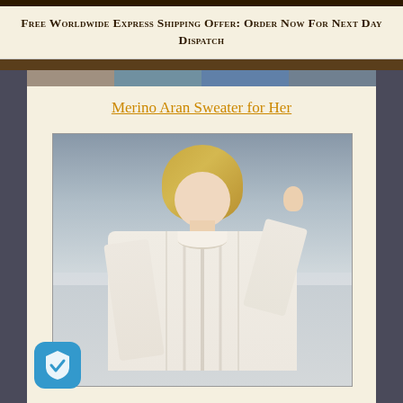Free Worldwide Express Shipping Offer: Order Now For Next Day Dispatch
[Figure (photo): Thumbnail strip of previous product images visible at top]
Merino Aran Sweater for Her
[Figure (photo): A blonde woman wearing a cream/white Aran cable-knit merino sweater, photographed outdoors on a beach with a misty grey sky and ocean in the background. She is touching her hair with one hand and looking toward the camera.]